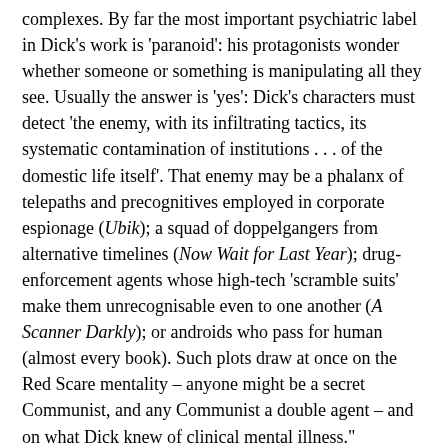complexes. By far the most important psychiatric label in Dick's work is 'paranoid': his protagonists wonder whether someone or something is manipulating all they see. Usually the answer is 'yes': Dick's characters must detect 'the enemy, with its infiltrating tactics, its systematic contamination of institutions . . . of the domestic life itself'. That enemy may be a phalanx of telepaths and precognitives employed in corporate espionage (Ubik); a squad of doppelgangers from alternative timelines (Now Wait for Last Year); drug-enforcement agents whose high-tech 'scramble suits' make them unrecognisable even to one another (A Scanner Darkly); or androids who pass for human (almost every book). Such plots draw at once on the Red Scare mentality – anyone might be a secret Communist, and any Communist a double agent – and on what Dick knew of clinical mental illness."
Well now I'm starting to like this guy, but I think it's just because he agrees with me. PKD is tirelessly analyzed in relation to Jung, but very few of us dare to see the themes and elements Dick tore from the pages of Freud's On Narcissism.